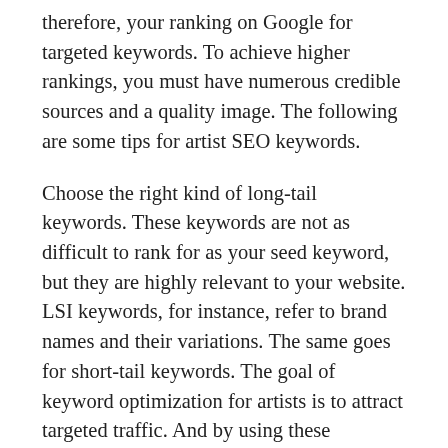therefore, your ranking on Google for targeted keywords. To achieve higher rankings, you must have numerous credible sources and a quality image. The following are some tips for artist SEO keywords.
Choose the right kind of long-tail keywords. These keywords are not as difficult to rank for as your seed keyword, but they are highly relevant to your website. LSI keywords, for instance, refer to brand names and their variations. The same goes for short-tail keywords. The goal of keyword optimization for artists is to attract targeted traffic. And by using these techniques, you can ensure that your website will gain organic search traffic. If you're an artist, SEO for artists is vital for your online visibility.